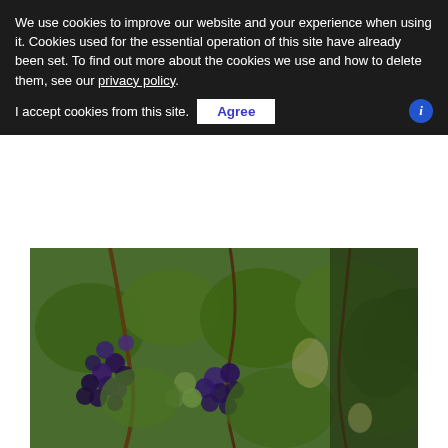We use cookies to improve our website and your experience when using it. Cookies used for the essential operation of this site have already been set. To find out more about the cookies we use and how to delete them, see our privacy policy.

I accept cookies from this site.   [Agree]
[Figure (photo): Photo of grape clusters on a vine with green leaves — grapes appear dark purple/black, damaged. This is identified as heat-stress damage from prolonged temperatures above 40°C.]
Top image shows grapes damaged by frost. Bottom shows grapes damaged by heat-stress from prolonged temperatures +40ºC for successive days.
In this interview with Dr Pratik Desai, he outlines how he and his colleagues have been able to achieve the creation of droplet sizes needed for reflectivity by use of their patented fluidic oscillator. What has also become apparent is that it is not just freezing conditions that can be guarded against, but also hot conditions where sustained hot temperatures can burn crops